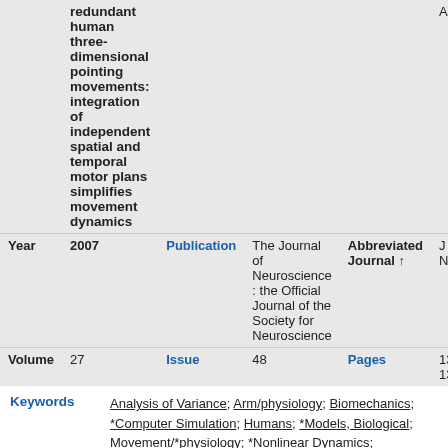| Field | Value | Field | Value | Field | Value |
| --- | --- | --- | --- | --- | --- |
|  | redundant human three-dimensional pointing movements: integration of independent spatial and temporal motor plans simplifies movement dynamics |  |  | Abbreviated Journal ↑ | J Neur |
| Year | 2007 | Publication | The Journal of Neuroscience : the Official Journal of the Society for Neuroscience | Abbreviated Journal ↑ | J Neur |
| Volume | 27 | Issue | 48 | Pages | 1304-1306 |
Keywords: Analysis of Variance; Arm/physiology; Biomechanics; *Computer Simulation; Humans; *Models, Biological; Movement/*physiology; *Nonlinear Dynamics; Posture/physiology; Psychomotor Performance/*physiology; Range of Motion, Articular/physiology; Reaction Time/physiology; Space Perception/*physiology; Time Factors; Torque
Abstract: Few computational models have addressed the spatiotemporal features of unconstrained three-dimensional (3D) arm motion. Empirical observations made on hand path, speed profiles, and arm postures during point-to-point movements led to the assumption that hand path and arm posture are independent of movement speed, suggesting that the geometric and temporal properties of movements are...